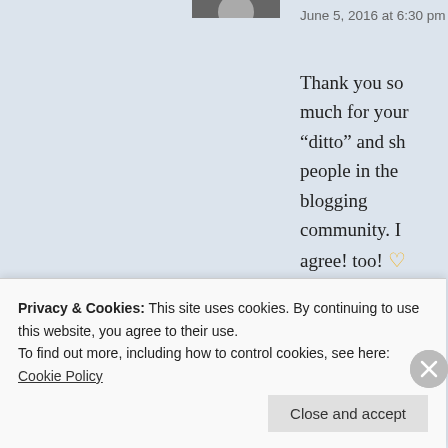June 5, 2016 at 6:30 pm
Thank you so much for your “ditto” and sh people in the blogging community. I agree! too! 💛 Elizabeth
★ Like
Reply
Dan Antion says:
June 6, 2016 at 3:47 am
Thanks for keeping me grounded, Janet. You a community. It’s the best part for sure.
Privacy & Cookies: This site uses cookies. By continuing to use this website, you agree to their use.
To find out more, including how to control cookies, see here: Cookie Policy
Close and accept